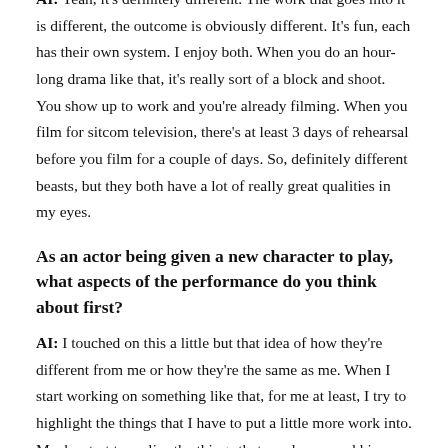AI: Yeah, it's definitely different. The work that goes into it is different, the outcome is obviously different. It's fun, each has their own system. I enjoy both. When you do an hour-long drama like that, it's really sort of a block and shoot. You show up to work and you're already filming. When you film for sitcom television, there's at least 3 days of rehearsal before you film for a couple of days. So, definitely different beasts, but they both have a lot of really great qualities in my eyes.
As an actor being given a new character to play, what aspects of the performance do you think about first?
AI: I touched on this a little but that idea of how they're different from me or how they're the same as me. When I start working on something like that, for me at least, I try to highlight the things that I have to put a little more work into. Maybe start to realise the things that maybe me and him have in common. Maybe I don't need to put as much work into this aspect as I would, some other one, if that makes sense.